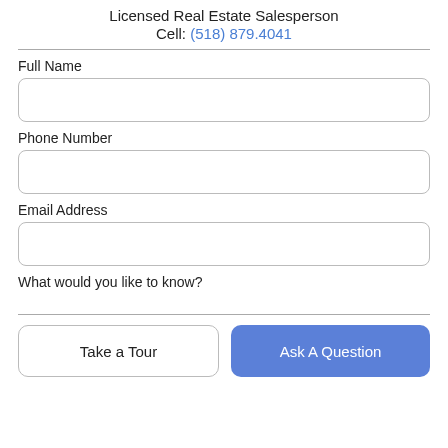Licensed Real Estate Salesperson
Cell: (518) 879.4041
Full Name
Phone Number
Email Address
What would you like to know?
Take a Tour
Ask A Question